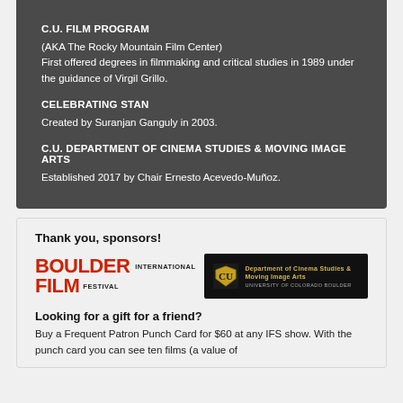C.U. FILM PROGRAM
(AKA The Rocky Mountain Film Center)
First offered degrees in filmmaking and critical studies in 1989 under the guidance of Virgil Grillo.
CELEBRATING STAN
Created by Suranjan Ganguly in 2003.
C.U. DEPARTMENT OF CINEMA STUDIES & MOVING IMAGE ARTS
Established 2017 by Chair Ernesto Acevedo-Muñoz.
Thank you, sponsors!
[Figure (logo): Boulder International Film Festival logo in red and black, and CU Department of Cinema Studies & Moving Image Arts logo in gold and black]
Looking for a gift for a friend?
Buy a Frequent Patron Punch Card for $60 at any IFS show. With the punch card you can see ten films (a value of